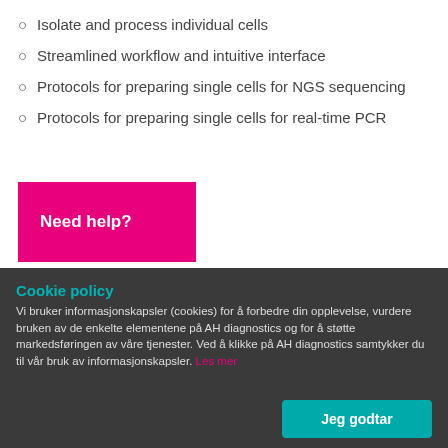Isolate and process individual cells
Streamlined workflow and intuitive interface
Protocols for preparing single cells for NGS sequencing
Protocols for preparing single cells for real-time PCR
[Figure (other): Pink/magenta button with white bold text reading 'Need help?']
Cookie policy
Vi bruker informasjonskapsler (cookies) for å forbedre din opplevelse, vurdere bruken av de enkelte elementene på AH diagnostics og for å støtte markedsføringen av våre tjenester. Ved å klikke på AH diagnostics samtykker du til vår bruk av informasjonskapsler. Les mer
[Figure (other): Teal/cyan button with white bold text reading 'Jeg godtar']